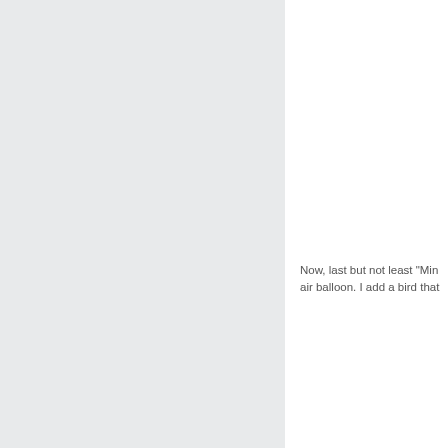Now, last but not least "Min air balloon. I add a bird that